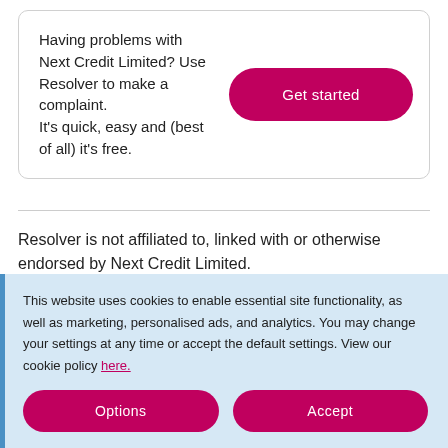Having problems with Next Credit Limited? Use Resolver to make a complaint.
It's quick, easy and (best of all) it's free.
Get started
Resolver is not affiliated to, linked with or otherwise endorsed by Next Credit Limited.
We are an entirely independent issue-resolution tool that
This website uses cookies to enable essential site functionality, as well as marketing, personalised ads, and analytics. You may change your settings at any time or accept the default settings. View our cookie policy here.
Options
Accept